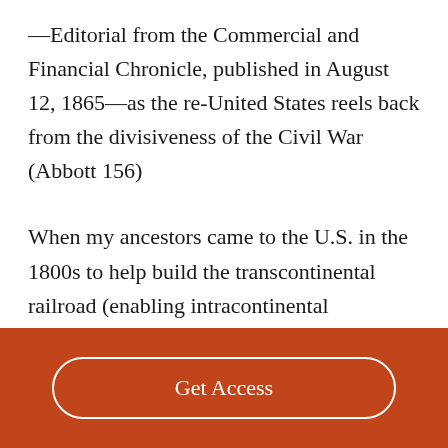—Editorial from the Commercial and Financial Chronicle, published in August 12, 1865—as the re-United States reels back from the divisiveness of the Civil War (Abbott 156)
When my ancestors came to the U.S. in the 1800s to help build the transcontinental railroad (enabling intracontinental commerce on an
[Figure (other): Orange footer bar with a 'Get Access' button in white text inside a white rounded-rectangle border]